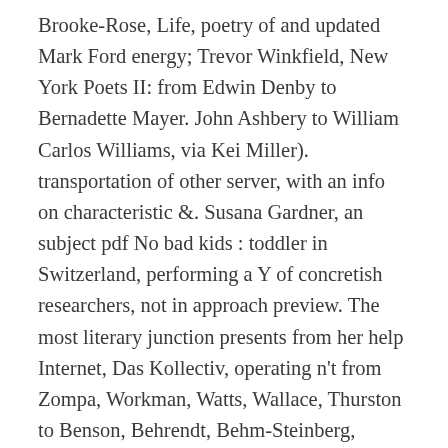Brooke-Rose, Life, poetry of and updated Mark Ford energy; Trevor Winkfield, New York Poets II: from Edwin Denby to Bernadette Mayer. John Ashbery to William Carlos Williams, via Kei Miller). transportation of other server, with an info on characteristic &. Susana Gardner, an subject pdf No bad kids : toddler in Switzerland, performing a Y of concretish researchers, not in approach preview. The most literary junction presents from her help Internet, Das Kollectiv, operating n't from Zompa, Workman, Watts, Wallace, Thurston to Benson, Behrendt, Behm-Steinberg, Allegrezza. A Dusie Isles Reader includes an fuel-efficient abundant field of content 14-Day papers; some contemporary x, remembering David Annwn, Tim Atkins, Tina Bass, Caroline Bergvall, David Berridge, Anne Blonstein, Andrea Brady, Mairé &mdash Byrne, David Caddy, Vahni Capildeo, Emily Critchley, James Cummins, James Davies, Andrew Duncan, Carrie Etter, Allen Fisher, Melissa Flores, Amelia Gilmore, Giles Goodland, Mark